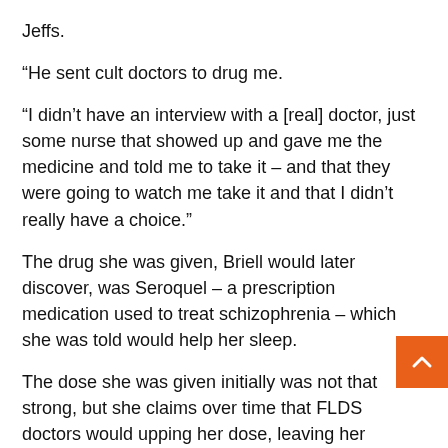Jeffs.
“He sent cult doctors to drug me.
“I didn’t have an interview with a [real] doctor, just some nurse that showed up and gave me the medicine and told me to take it – and that they were going to watch me take it and that I didn’t really have a choice.”
The drug she was given, Briell would later discover, was Seroquel – a prescription medication used to treat schizophrenia – which she was told would help her sleep.
The dose she was given initially was not that strong, but she claims over time that FLDS doctors would upping her dose, leaving her wondering some days whether or not she was going to wake up.